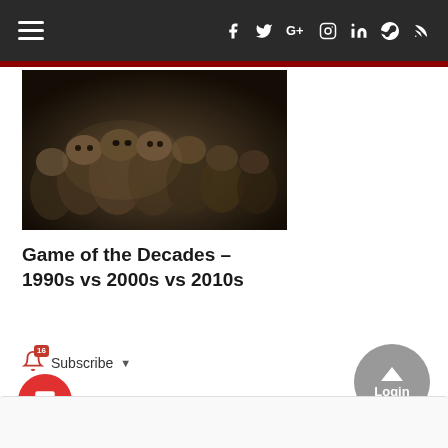Navigation bar with hamburger menu and social icons: facebook, twitter, google+, instagram, linkedin, steam, rss
[Figure (photo): Dark fantasy scene showing multiple grotesque or monstrous figures in a dimly lit, brownish-green color palette]
Game of the Decades – 1990s vs 2000s vs 2010s
Subscribe
Login